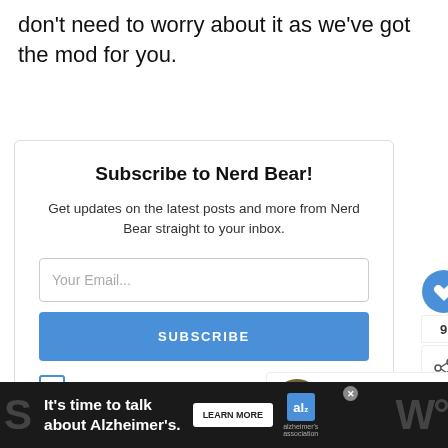don't need to worry about it as we've got the mod for you.
[Figure (screenshot): Newsletter subscription widget with title 'Subscribe to Nerd Bear!', description text, email input field, Subscribe button, and consent checkbox. Includes floating heart/share buttons and a 'What's Next' panel showing 'Top 28 Best Fallout New...']
[Figure (infographic): Bottom advertisement bar with dark background reading "It's time to talk about Alzheimer's." with a Learn More button and Alzheimer's Association logo]